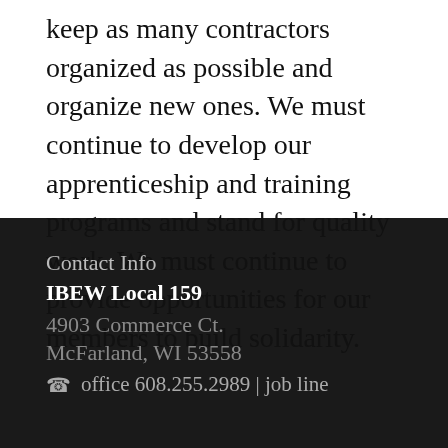keep as many contractors organized as possible and organize new ones. We must continue to develop our apprenticeship and training programs and stand for quality work. We must continue to provide opportunities for our members to build solidarity.
Contact Info
IBEW Local 159
4903 Commerce Ct.
McFarland, WI 53558
office 608.255.2989 | job line